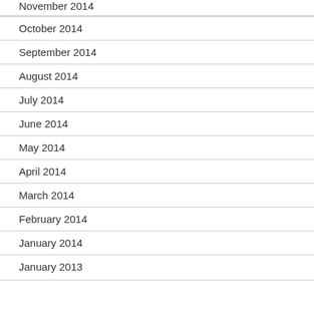November 2014
October 2014
September 2014
August 2014
July 2014
June 2014
May 2014
April 2014
March 2014
February 2014
January 2014
January 2013